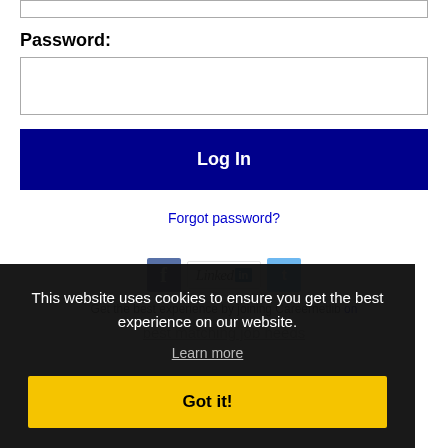Password:
[Figure (screenshot): Password input field (empty text box)]
Log In
Forgot password?
[Figure (screenshot): Social media icons: Facebook, LinkedIn, Twitter]
Get the best experience by joining Careernetlib on
best matching job needs
This website uses cookies to ensure you get the best experience on our website.
Learn more
Got it!